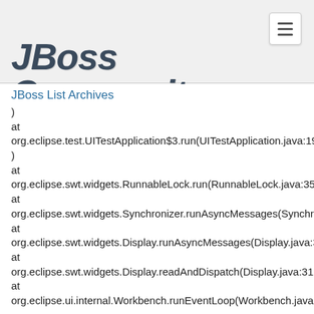JBoss Community
JBoss List Archives
)
at
org.eclipse.test.UITestApplication$3.run(UITestApplication.java:195)
at
org.eclipse.swt.widgets.RunnableLock.run(RunnableLock.java:35)
at
org.eclipse.swt.widgets.Synchronizer.runAsyncMessages(Synchronizer.java:134)
at
org.eclipse.swt.widgets.Display.runAsyncMessages(Display.java:3515)
at
org.eclipse.swt.widgets.Display.readAndDispatch(Display.java:3162)
at
org.eclipse.ui.internal.Workbench.runEventLoop(Workbench.java:2